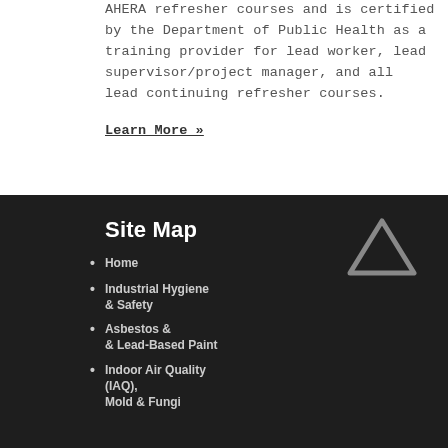AHERA refresher courses and is certified by the Department of Public Health as a training provider for lead worker, lead supervisor/project manager, and all lead continuing refresher courses.
Learn More »
Site Map
[Figure (illustration): Gray outlined triangle (up arrow) icon on dark background]
Home
Industrial Hygiene & Safety
Asbestos & & Lead-Based Paint
Indoor Air Quality (IAQ), Mold & Fungi